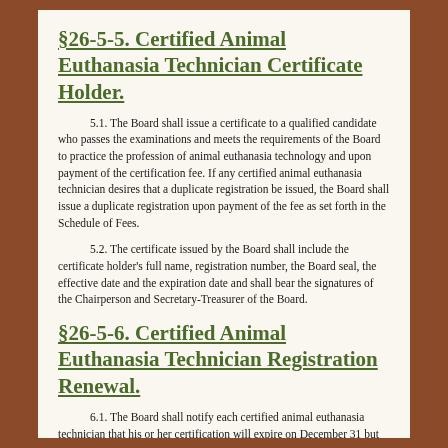§26-5-5. Certified Animal Euthanasia Technician Certificate Holder.
5.1.  The Board shall issue a certificate to a qualified candidate who passes the examinations and meets the requirements of the Board to practice the profession of animal euthanasia technology and upon payment of the certification fee.  If any certified animal euthanasia technician desires that a duplicate registration be issued, the Board shall issue a duplicate registration upon payment of the fee as set forth in the Schedule of Fees.
5.2.  The certificate issued by the Board shall include the certificate holder's full name, registration number, the Board seal, the effective date and the expiration date and shall bear the signatures of the Chairperson and Secretary-Treasurer of the Board.
§26-5-6.  Certified Animal Euthanasia Technician Registration Renewal.
6.1.  The Board shall notify each certified animal euthanasia technician that his or her certification will expire on December 31 but failure to receive the notification does not exempt a certificate holder from meeting the requirements of this rule.